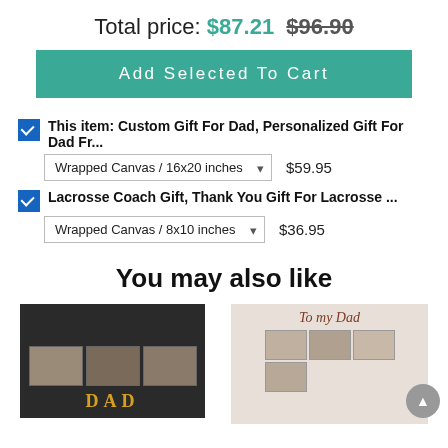Total price: $87.21  $96.90
Add Selected To Cart
This item: Custom Gift For Dad, Personalized Gift For Dad Fr... — Wrapped Canvas / 16x20 inches — $59.95
Lacrosse Coach Gift, Thank You Gift For Lacrosse ... — Wrapped Canvas / 8x10 inches — $36.95
You may also like
[Figure (photo): Canvas print photo collage with DAD text on dark background]
[Figure (photo): Canvas print with 'To my Dad' cursive text and photo collage on light wood background]